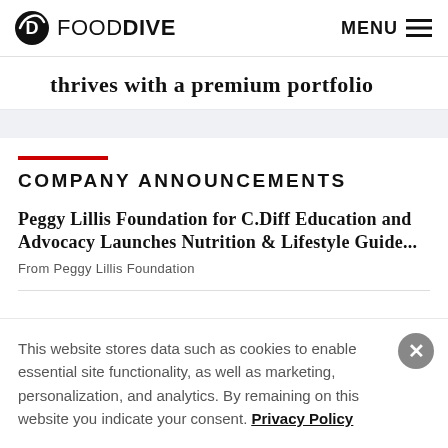FOOD DIVE  MENU
thrives with a premium portfolio
COMPANY ANNOUNCEMENTS
Peggy Lillis Foundation for C.Diff Education and Advocacy Launches Nutrition & Lifestyle Guide...
From Peggy Lillis Foundation
This website stores data such as cookies to enable essential site functionality, as well as marketing, personalization, and analytics. By remaining on this website you indicate your consent. Privacy Policy